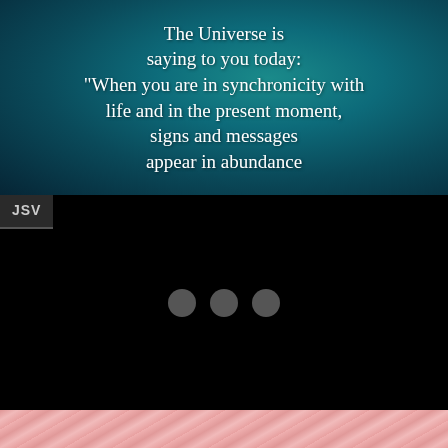[Figure (illustration): Teal/turquoise starry nebula background with white serif text: 'The Universe is saying to you today: "When you are in synchronicity with life and in the present moment, signs and messages appear in abundance']
JSV
[Figure (illustration): Black section with three gray dots (loading indicator) centered in the middle]
[Figure (photo): Bottom strip showing pink flamingo feathers or similar pink bird plumage]